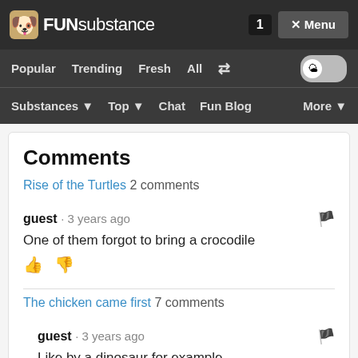FUNsubstance | 1 | Menu
Popular Trending Fresh All [shuffle] [toggle]
Substances ▼ Top ▼ Chat Fun Blog More ▼
Comments
Rise of the Turtles 2 comments
guest · 3 years ago
One of them forgot to bring a crocodile
The chicken came first 7 comments
guest · 3 years ago
Like by a dinosaur for example
Aromatic pushy torpid Squirrel 28 comments
guest · 3 years ago
Frodo, Sam, Gollum